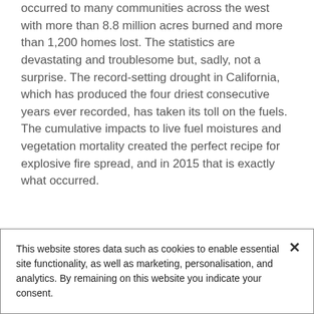occurred to many communities across the west with more than 8.8 million acres burned and more than 1,200 homes lost. The statistics are devastating and troublesome but, sadly, not a surprise. The record-setting drought in California, which has produced the four driest consecutive years ever recorded, has taken its toll on the fuels. The cumulative impacts to live fuel moistures and vegetation mortality created the perfect recipe for explosive fire spread, and in 2015 that is exactly what occurred.
[Figure (photo): Partial image strip visible at bottom of main content area]
This
This website stores data such as cookies to enable essential site functionality, as well as marketing, personalisation, and analytics. By remaining on this website you indicate your consent.